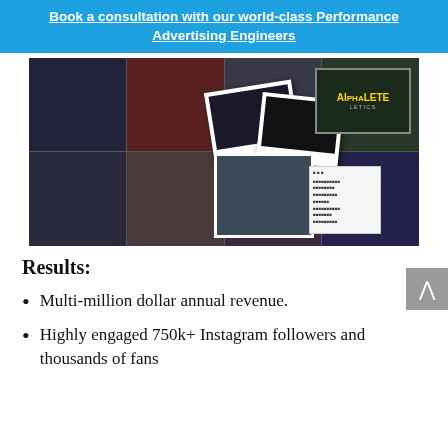Book a consultation with our world-class Performance Advertising Engineers
[Figure (photo): Collage of fitness/athletic lifestyle photos featuring people in workout gear, overlaid with polaroid-style photos and an Alphalete Athletics branded card, plus a social media screenshot]
Results:
Multi-million dollar annual revenue.
Highly engaged 750k+ Instagram followers and thousands of fans